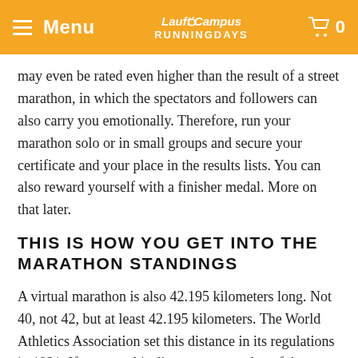Menu | LauftiCampus RUNNINGDAYS | 0
may even be rated even higher than the result of a street marathon, in which the spectators and followers can also carry you emotionally. Therefore, run your marathon solo or in small groups and secure your certificate and your place in the results lists. You can also reward yourself with a finisher medal. More on that later.
THIS IS HOW YOU GET INTO THE MARATHON STANDINGS
A virtual marathon is also 42.195 kilometers long. Not 40, not 42, but at least 42.195 kilometers. The World Athletics Association set this distance in its regulations in 1921. If you run this distance on one day of the one-week Laufcampus Runningdays, you will be included in the marathon ranking of the Runningdays. You are